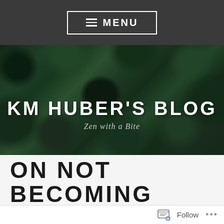MENU
[Figure (photo): Close-up photo of green succulent plants forming the hero banner background for KM Huber's Blog]
KM HUBER'S BLOG
Zen with a Bite
ON NOT BECOMING A BUDDHA
Follow ...